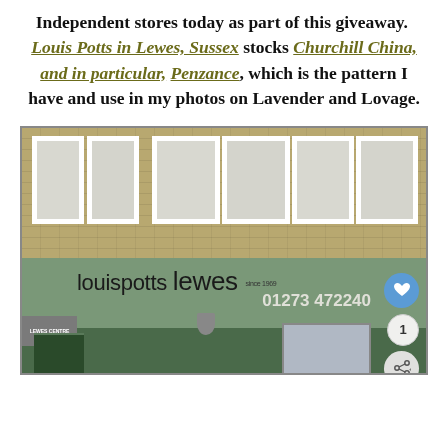Independent stores today as part of this giveaway. Louis Potts in Lewes, Sussex stocks Churchill China, and in particular, Penzance, which is the pattern I have and use in my photos on Lavender and Lovage.
[Figure (photo): Exterior photo of Louis Potts store in Lewes, showing the green shopfront awning with 'louispotts lewes since 1969' text, phone number 01273 472240, brick building upper floors with white-framed windows, and social media interaction buttons (heart icon, count '1', share button) overlaid on the right side.]